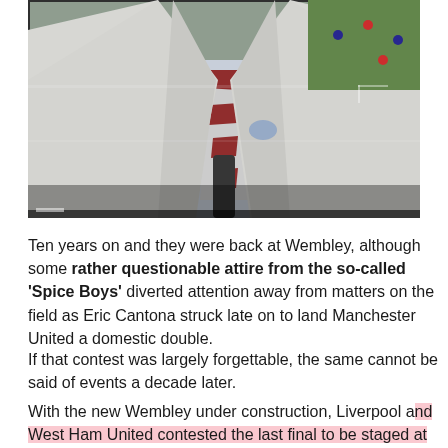[Figure (photo): A person wearing a white suit jacket with a red and white striped tie, standing in front of what appears to be a football pitch. The image appears to be from old television footage with some artifacts/distortion.]
Ten years on and they were back at Wembley, although some rather questionable attire from the so-called 'Spice Boys' diverted attention away from matters on the field as Eric Cantona struck late on to land Manchester United a domestic double.
If that contest was largely forgettable, the same cannot be said of events a decade later.
With the new Wembley under construction, Liverpool and West Ham United contested the last final to be staged at Cardiff's Millennium Stadium – and quite a show they put on too, with